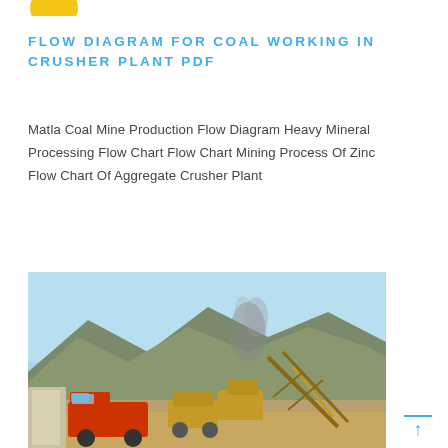[Figure (illustration): Yellow half-circle logo at top left]
FLOW DIAGRAM FOR COAL WORKING IN CRUSHER PLANT PDF
Matla Coal Mine Production Flow Diagram Heavy Mineral Processing Flow Chart Flow Chart Mining Process Of Zinc Flow Chart Of Aggregate Crusher Plant
[Figure (photo): Photograph of a mining crusher plant operation with large yellow trucks and equipment, mountains and blue sky in background with dust/smoke rising]